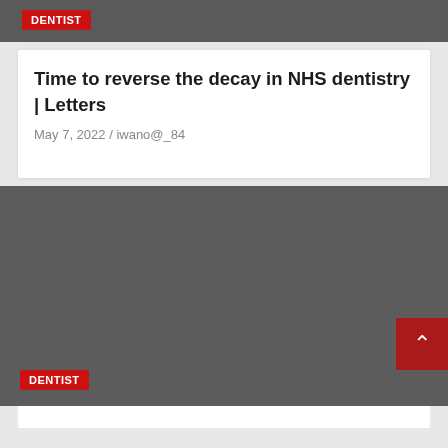DENTIST
Time to reverse the decay in NHS dentistry | Letters
May 7, 2022 / iwano@_84
[Figure (photo): Dark grey image block representing a thumbnail photo for a dentist-related article, with a DENTIST badge label at the bottom left and a scroll-to-top button at the bottom right.]